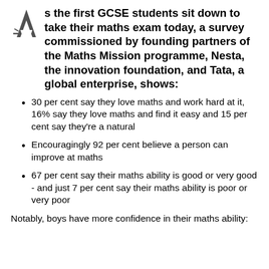As the first GCSE students sit down to take their maths exam today, a survey commissioned by founding partners of the Maths Mission programme, Nesta, the innovation foundation, and Tata, a global enterprise, shows:
30 per cent say they love maths and work hard at it, 16% say they love maths and find it easy and 15 per cent say they're a natural
Encouragingly 92 per cent believe a person can improve at maths
67 per cent say their maths ability is good or very good - and just 7 per cent say their maths ability is poor or very poor
Notably, boys have more confidence in their maths ability: